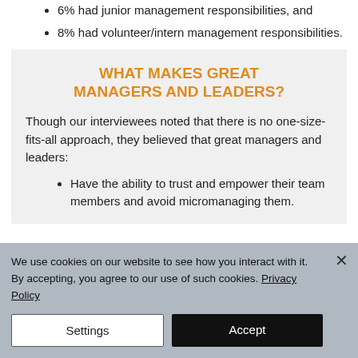6% had junior management responsibilities, and
8% had volunteer/intern management responsibilities.
WHAT MAKES GREAT MANAGERS AND LEADERS?
Though our interviewees noted that there is no one-size-fits-all approach, they believed that great managers and leaders:
Have the ability to trust and empower their team members and avoid micromanaging them.
We use cookies on our website to see how you interact with it. By accepting, you agree to our use of such cookies. Privacy Policy